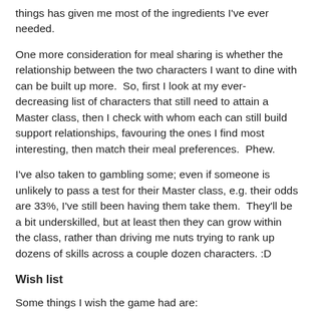things has given me most of the ingredients I've ever needed.
One more consideration for meal sharing is whether the relationship between the two characters I want to dine with can be built up more.  So, first I look at my ever-decreasing list of characters that still need to attain a Master class, then I check with whom each can still build support relationships, favouring the ones I find most interesting, then match their meal preferences.  Phew.
I've also taken to gambling some; even if someone is unlikely to pass a test for their Master class, e.g. their odds are 33%, I've still been having them take them.  They'll be a bit underskilled, but at least then they can grow within the class, rather than driving me nuts trying to rank up dozens of skills across a couple dozen characters. :D
Wish list
Some things I wish the game had are: